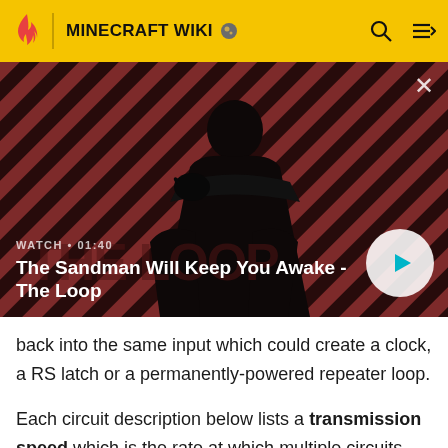MINECRAFT WIKI
[Figure (screenshot): Video thumbnail for 'The Sandman Will Keep You Awake - The Loop' showing a dark-cloaked figure with a raven on a red and black striped background. Shows WATCH • 01:40 label and a play button.]
back into the same input which could create a clock, a RS latch or a permanently-powered repeater loop.
Each circuit description below lists a transmission speed which is the rate at which multiple circuits can transmit signals when placed at maximum distance from